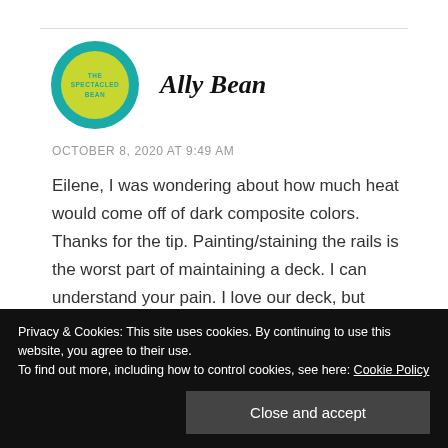[Figure (logo): The Spectacled Bean circular logo with teal border and yellow-green center]
Ally Bean
OCTOBER 8, 2020 AT 9:49 AM
Eilene, I was wondering about how much heat would come off of dark composite colors. Thanks for the tip. Painting/staining the rails is the worst part of maintaining a deck. I can understand your pain. I love our deck, but without functional stain it is kind of a nuisance
Privacy & Cookies: This site uses cookies. By continuing to use this website, you agree to their use.
To find out more, including how to control cookies, see here: Cookie Policy
Close and accept